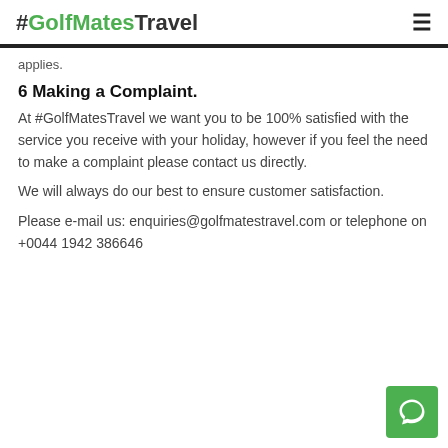#GolfMatesTravel
applies.
6 Making a Complaint.
At #GolfMatesTravel we want you to be 100% satisfied with the service you receive with your holiday, however if you feel the need to make a complaint please contact us directly.
We will always do our best to ensure customer satisfaction.
Please e-mail us: enquiries@golfmatestravel.com or telephone on +0044 1942 386646